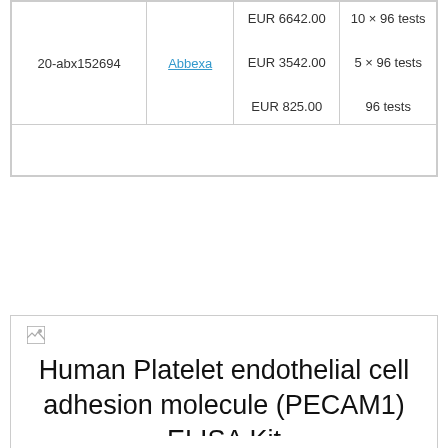| Catalog | Supplier | Price | Quantity |
| --- | --- | --- | --- |
| 20-abx152694 | Abbexa | EUR 6642.00
EUR 3542.00
EUR 825.00 | 10 × 96 tests
5 × 96 tests
96 tests |
|  |  |  |  |
Human Platelet endothelial cell adhesion molecule (PECAM1) ELISA Kit